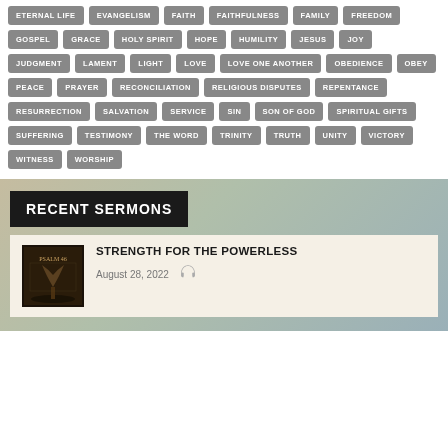ETERNAL LIFE
EVANGELISM
FAITH
FAITHFULNESS
FAMILY
FREEDOM
GOSPEL
GRACE
HOLY SPIRIT
HOPE
HUMILITY
JESUS
JOY
JUDGMENT
LAMENT
LIGHT
LOVE
LOVE ONE ANOTHER
OBEDIENCE
OBEY
PEACE
PRAYER
RECONCILIATION
RELIGIOUS DISPUTES
REPENTANCE
RESURRECTION
SALVATION
SERVICE
SIN
SON OF GOD
SPIRITUAL GIFTS
SUFFERING
TESTIMONY
THE WORD
TRINITY
TRUTH
UNITY
VICTORY
WITNESS
WORSHIP
RECENT SERMONS
STRENGTH FOR THE POWERLESS
August 28, 2022